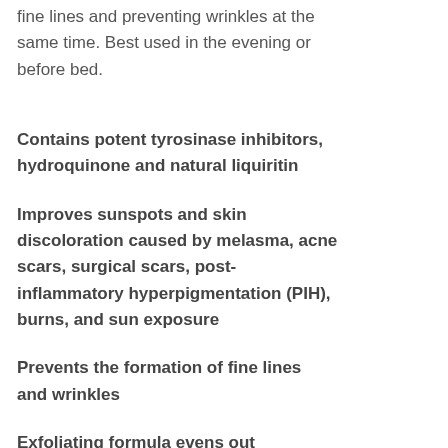fine lines and preventing wrinkles at the same time. Best used in the evening or before bed.
Contains potent tyrosinase inhibitors, hydroquinone and natural liquiritin
Improves sunspots and skin discoloration caused by melasma, acne scars, surgical scars, post-inflammatory hyperpigmentation (PIH), burns, and sun exposure
Prevents the formation of fine lines and wrinkles
Exfoliating formula evens out